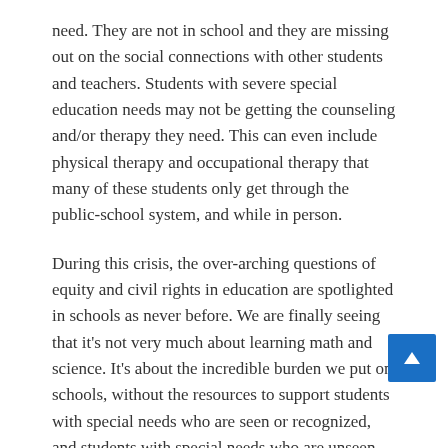need. They are not in school and they are missing out on the social connections with other students and teachers. Students with severe special education needs may not be getting the counseling and/or therapy they need. This can even include physical therapy and occupational therapy that many of these students only get through the public-school system, and while in person.
During this crisis, the over-arching questions of equity and civil rights in education are spotlighted in schools as never before. We are finally seeing that it's not very much about learning math and science. It's about the incredible burden we put on schools, without the resources to support students with special needs who are seen or recognized, and students with special needs who are unseen like students with unidentified educational challenges. As an example, nonwhite